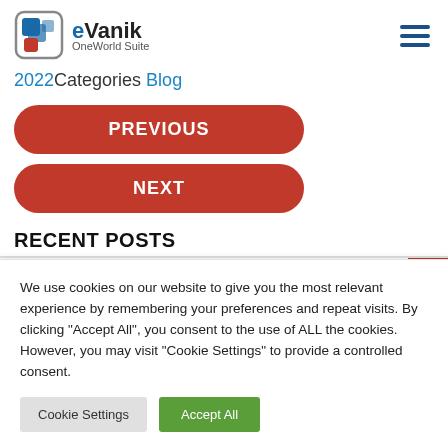[Figure (logo): eVanik OneWorld Suite logo with blue and red icon]
2022 Categories Blog
PREVIOUS
NEXT
RECENT POSTS
We use cookies on our website to give you the most relevant experience by remembering your preferences and repeat visits. By clicking “Accept All”, you consent to the use of ALL the cookies. However, you may visit “Cookie Settings” to provide a controlled consent.
Cookie Settings
Accept All